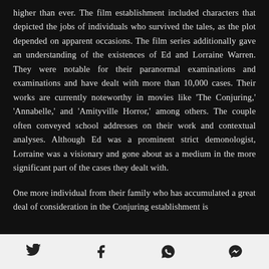higher than ever. The film establishment included characters that depicted the jobs of individuals who survived the tales, as the plot depended on apparent occasions. The film series additionally gave an understanding of the existences of Ed and Lorraine Warren. They were notable for their paranormal examinations and examinations and have dealt with more than 10,000 cases. Their works are currently noteworthy in movies like 'The Conjuring,' 'Annabelle,' and 'Amityville Horror,' among others. The couple often conveyed school addresses on their work and contextual analyses. Although Ed was a prominent strict demonologist, Lorraine was a visionary and gone about as a medium in the more significant part of the cases they dealt with.
One more individual from their family who has accumulated a great deal of consideration in the Conjuring establishment is
[Twitter] [Facebook] [WhatsApp] [Messenger]